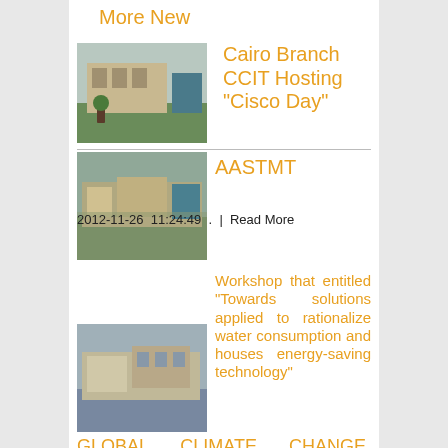More New
[Figure (photo): Photo of a campus building with green lawn]
Cairo Branch CCIT Hosting "Cisco Day"
2012-11-26  11:24:49  .  |  Read More
[Figure (photo): Photo of AASTMT campus aerial view]
AASTMT
Workshop that entitled "Towards solutions applied to rationalize water consumption and houses energy-saving technology"
[Figure (photo): Photo of a building complex]
GLOBAL CLIMATE CHANGE, BIODIVERSITY, AND SUSTAINABILITY:
2012-11-21  12:10:00  .  |  Read More